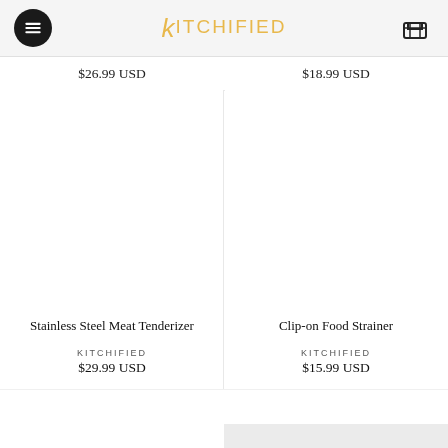KITCHIFIED
$26.99 USD
$18.99 USD
Stainless Steel Meat Tenderizer
KITCHIFIED
$29.99 USD
Clip-on Food Strainer
KITCHIFIED
$15.99 USD